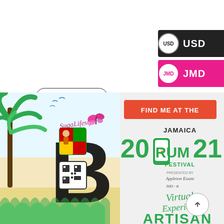Read More →
USD
JMD
[Figure (illustration): Promotional event poster for SugaLifestyle at the Jamaica Rum Festival 2021 Virtual Experience Artisan Village, featuring a tropical design with palm trees, a butterfly, large letter B, QR code, colorful Rastafarian imagery, and festival logos. The right panel says FIND ME AT THE Jamaica Rum Festival 2021 Presented by Appleton Estate Virtual Experience ARTISAN VILLAGE.]